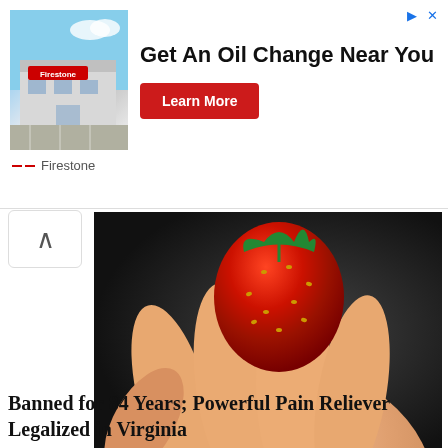[Figure (screenshot): Advertisement banner for Firestone oil change service. Shows a Firestone building/store image on the left, large text 'Get An Oil Change Near You', and a red 'Learn More' button. Firestone brand name shown below the store image.]
[Figure (photo): Hand holding a red strawberry against a dark background, upper portion of an article image]
Banned for 84 Years; Powerful Pain Reliever Legalized in Virginia
Health Headlines
[Figure (photo): A plastic measuring scoop filled with white powder sitting on a wooden surface]